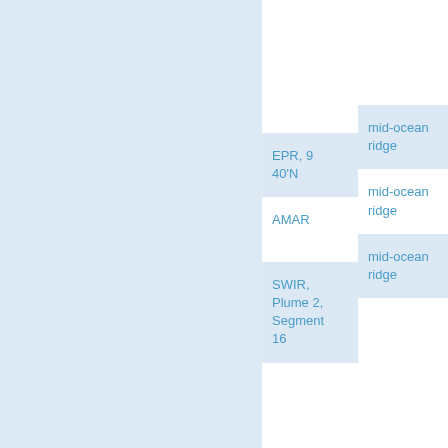| Location | Status | Type |
| --- | --- | --- |
| EPR, 9 40'N | active, confirmed | mid-ocean ridge |
| AMAR | active, inferred | mid-ocean ridge |
| SWIR, Plume 2, Segment 16 | active, inferred | mid-ocean ridge |